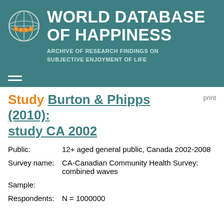WORLD DATABASE OF HAPPINESS — ARCHIVE OF RESEARCH FINDINGS ON SUBJECTIVE ENJOYMENT OF LIFE
Study Burton & Phipps (2010): study CA 2002
print
Public: 12+ aged general public, Canada 2002-2008
Survey name: CA-Canadian Community Health Survey: combined waves
Sample:
Respondents: N = 1000000